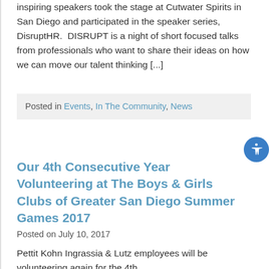inspiring speakers took the stage at Cutwater Spirits in San Diego and participated in the speaker series, DisruptHR.  DISRUPT is a night of short focused talks from professionals who want to share their ideas on how we can move our talent thinking [...]
Posted in Events, In The Community, News
Our 4th Consecutive Year Volunteering at The Boys & Girls Clubs of Greater San Diego Summer Games 2017
Posted on July 10, 2017
Pettit Kohn Ingrassia & Lutz employees will be volunteering again for the 4th